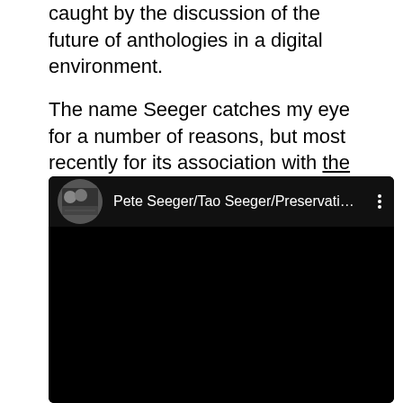caught by the discussion of the future of anthologies in a digital environment.

The name Seeger catches my eye for a number of reasons, but most recently for its association with the Preservation Hall Jazz Band:
[Figure (screenshot): Embedded YouTube video player showing a video titled 'Pete Seeger/Tao Seeger/Preservati...' with a circular thumbnail image of musicians and a three-dot menu icon. The video body is black/not playing.]